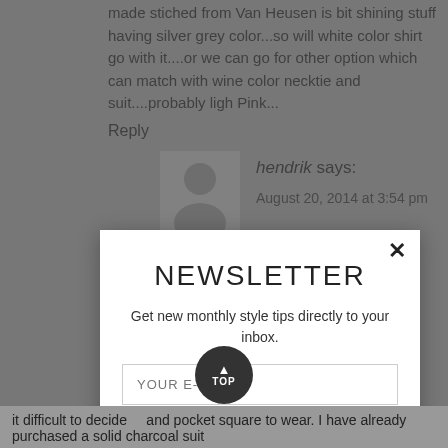made stiched from Van Heusen is bit shining stuff having silver grey color...so will white color shirt go with it....or we can go for other option which can match with wine color necktie and suit....probably ligh Pink...
Reply
hendrik says:
August 20, 2014 at 3:54 pm
Hi Manish, you certainly don't have to wear a
[Figure (infographic): Newsletter subscription modal popup with close button (×), title NEWSLETTER, subtitle text, email input field, and SUBSCRIBE button]
it difficult to decide   and pocket square to wear. I have already purchased a solid charcoal suit